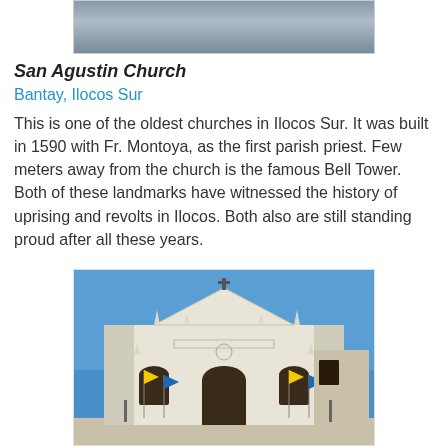[Figure (photo): Partial top photograph of a building/landmark, cropped at top of page]
San Agustin Church
Bantay, Ilocos Sur
This is one of the oldest churches in Ilocos Sur. It was built in 1590 with Fr. Montoya, as the first parish priest. Few meters away from the church is the famous Bell Tower. Both of these landmarks have witnessed the history of uprising and revolts in Ilocos. Both also are still standing proud after all these years.
[Figure (photo): Photograph of a white colonial church (San Agustin Church/Vigan Cathedral) with baroque facade, blue sky background, and colorful flags in front]